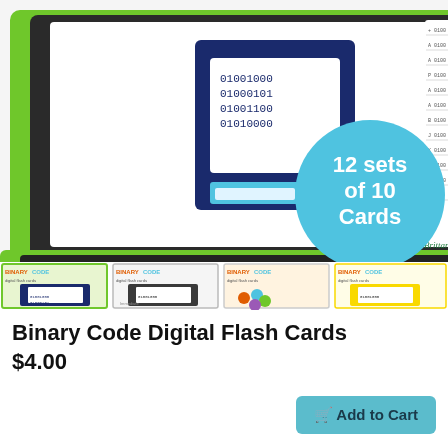[Figure (screenshot): Product listing image showing a green laptop computer with binary code flash cards on screen, a circular badge reading '12 sets of 10 Cards', and four preview thumbnail cards labeled 'BINARY CODE digital flash cards' at the bottom of the image. Copyright tag reads '© Brittany Washburn'.]
Binary Code Digital Flash Cards
$4.00
Add to Cart